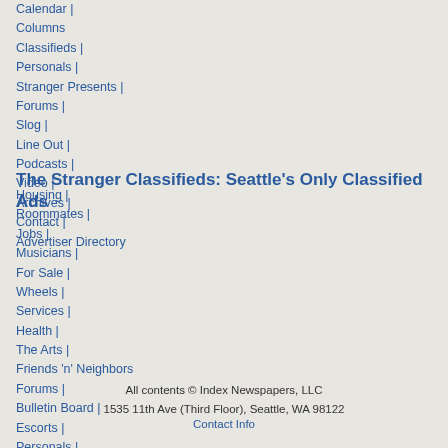Calendar |
Columns
Classifieds |
Personals |
Stranger Presents |
Forums |
Slog |
Line Out |
Podcasts |
Video |
Archives |
Contact |
Advertiser Directory
The Stranger Classifieds: Seattle's Only Classified Ads
Housing |
Roommates |
Jobs |
Musicians |
For Sale |
Wheels |
Services |
Health |
The Arts |
Friends 'n' Neighbors
Forums |
Bulletin Board |
Escorts |
Personals |
Bands
All contents © Index Newspapers, LLC
1535 11th Ave (Third Floor), Seattle, WA 98122
Contact Info